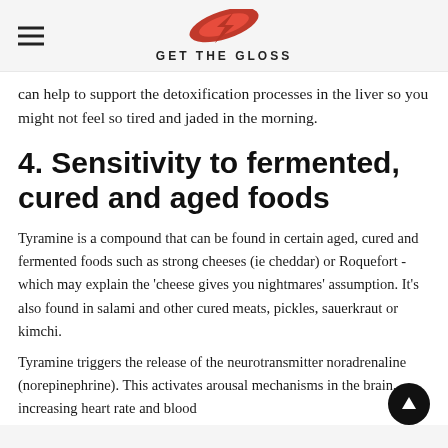GET THE GLOSS
can help to support the detoxification processes in the liver so you might not feel so tired and jaded in the morning.
4. Sensitivity to fermented, cured and aged foods
Tyramine is a compound that can be found in certain aged, cured and fermented foods such as strong cheeses (ie cheddar) or Roquefort - which may explain the ‘cheese gives you nightmares’ assumption. It’s also found in salami and other cured meats, pickles, sauerkraut or kimchi.
Tyramine triggers the release of the neurotransmitter noradrenaline (norepinephrine). This activates arousal mechanisms in the brain, increasing heart rate and blood